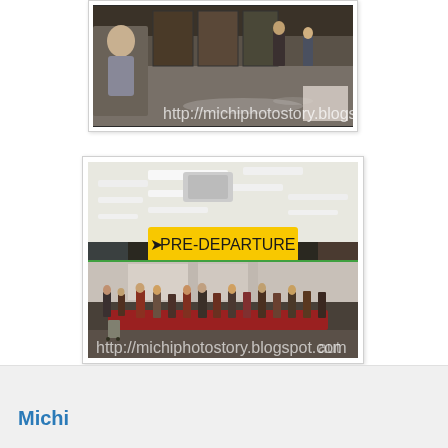[Figure (photo): Indoor photo showing a child and people in what appears to be a shopping mall or airport interior with reflective floors and display boards. Watermark reads: http://michiphotostory.blogspot.com]
[Figure (photo): Airport pre-departure hall with a large yellow hanging sign reading 'PRE-DEPARTURE', fluorescent ceiling lights, columns, and many passengers seated in red chairs. Watermark visible at bottom.]
Michi